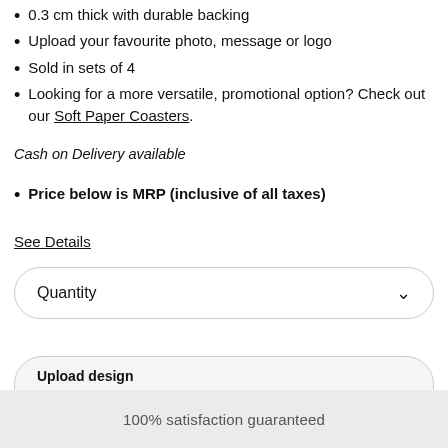0.3 cm thick with durable backing
Upload your favourite photo, message or logo
Sold in sets of 4
Looking for a more versatile, promotional option? Check out our Soft Paper Coasters.
Cash on Delivery available
Price below is MRP (inclusive of all taxes)
See Details
Quantity
Upload design
Have a design? Upload and edit it
100% satisfaction guaranteed